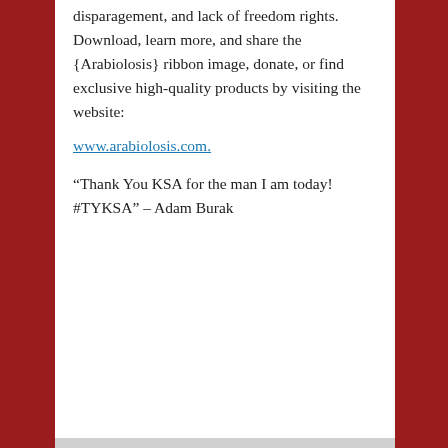disparagement, and lack of freedom rights. Download, learn more, and share the {Arabiolosis} ribbon image, donate, or find exclusive high-quality products by visiting the website:
www.arabiolosis.com.
“Thank You KSA for the man I am today! #TYKSA” – Adam Burak